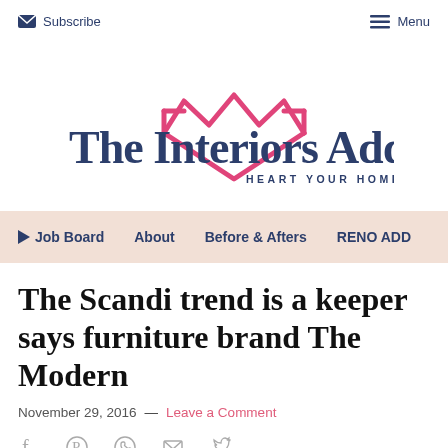Subscribe   Menu
[Figure (logo): The Interiors Addict logo with pink diamond/heart shape graphic above and below the text, and tagline HEART YOUR HOME]
Job Board   About   Before & Afters   RENO ADD
The Scandi trend is a keeper says furniture brand The Modern
November 29, 2016 — Leave a Comment
[Figure (infographic): Social sharing icons: Facebook, Pinterest, WhatsApp, Email, Twitter]